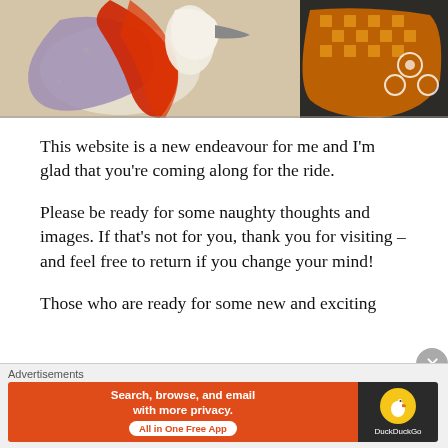[Figure (illustration): Partial view of a Japanese-style artwork showing figures in colorful traditional robes with red, orange, black, purple, and white patterns against a light background]
This website is a new endeavour for me and I'm glad that you're coming along for the ride.
Please be ready for some naughty thoughts and images. If that's not for you, thank you for visiting – and feel free to return if you change your mind!
Those who are ready for some new and exciting
[Figure (screenshot): Advertisement banner: DuckDuckGo ad reading 'Search, browse, and email with more privacy. All in One Free App' with DuckDuckGo logo on dark right panel, labeled 'Advertisements']